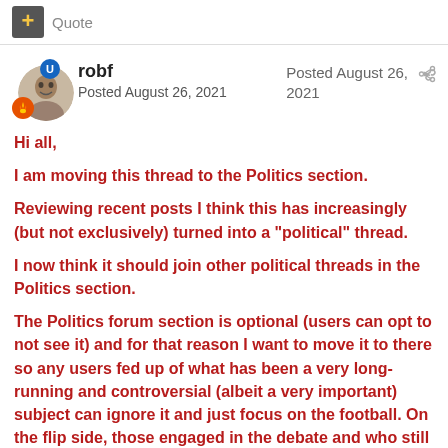Quote
robf
Posted August 26, 2021
Posted August 26, 2021
Hi all,

I am moving this thread to the Politics section.

Reviewing recent posts I think this has increasingly (but not exclusively) turned into a "political" thread.

I now think it should join other political threads in the Politics section.

The Politics forum section is optional (users can opt to not see it) and for that reason I want to move it to there so any users fed up of what has been a very long-running and controversial (albeit a very important) subject can ignore it and just focus on the football. On the flip side, those engaged in the debate and who still want to contribute are free to do so, just in a different part of the forum.